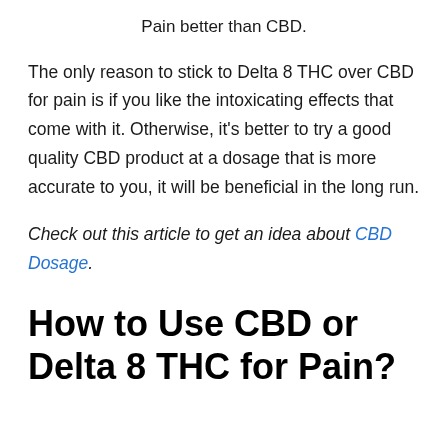Pain better than CBD.
The only reason to stick to Delta 8 THC over CBD for pain is if you like the intoxicating effects that come with it. Otherwise, it’s better to try a good quality CBD product at a dosage that is more accurate to you, it will be beneficial in the long run.
Check out this article to get an idea about CBD Dosage.
How to Use CBD or Delta 8 THC for Pain?